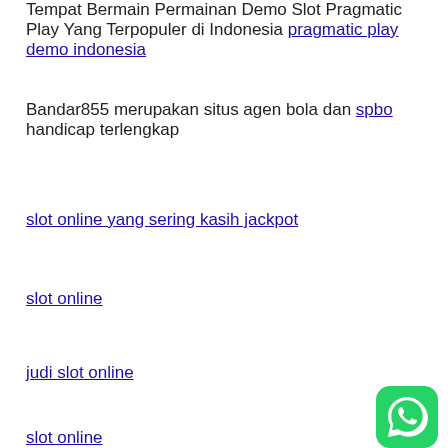Tempat Bermain Permainan Demo Slot Pragmatic Play Yang Terpopuler di Indonesia pragmatic play demo indonesia
Bandar855 merupakan situs agen bola dan spbo handicap terlengkap
slot online yang sering kasih jackpot
slot online
judi slot online
slot online
[Figure (logo): WhatsApp green circle icon with white phone handset symbol]